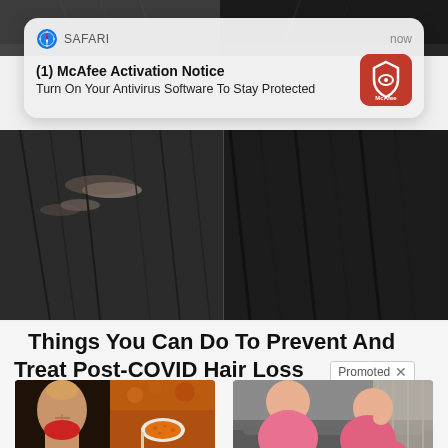[Figure (screenshot): Top portion of a person's scalp/hair, dark hair visible at top of page behind notification]
[Figure (screenshot): iOS Safari push notification popup: app name SAFARI, time 'now', bold title '(1) McAfee Activation Notice', subtitle 'Turn On Your Antivirus Software To Stay Protected', McAfee red icon on right]
[Figure (photo): Large image showing top of a person's scalp, split view before/after hair loss treatment, dark hair]
Things You Can Do To Prevent And Treat Post-COVID Hair Loss
Promoted X
[Figure (photo): Left ad: fitness woman with abs and spoon with orange spice powder]
A Teaspoon On An Empty Stomach Burns Fat Like Crazy!
167,015
[Figure (photo): Right ad: overweight woman in pink pajamas sitting on couch]
A Teaspoon On An Empty Stomach Burns 12 Lbs Of Fat A Week Safely!
13,282